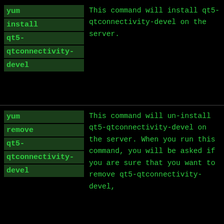| Command | Description |
| --- | --- |
| yum install qt5-qtconnectivity-devel | This command will install qt5-qtconnectivity-devel on the server. |
| yum remove qt5-qtconnectivity-devel | This command will un-install qt5-qtconnectivity-devel on the server. When you run this command, you will be asked if you are sure that you want to remove qt5-qtconnectivity-devel, |